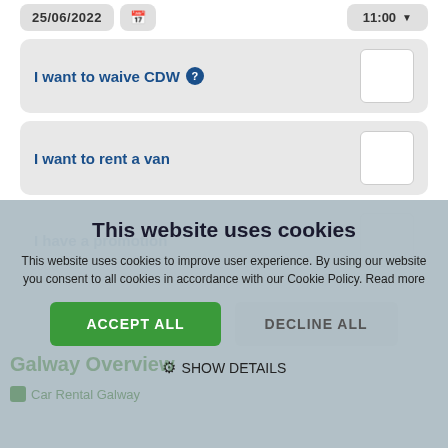[Figure (screenshot): Car rental booking form showing date 25/06/2022 with calendar icon and time 11:00 with dropdown arrow at top]
I want to waive CDW
I want to rent a van
I have a promotion
code
This website uses cookies
This website uses cookies to improve user experience. By using our website you consent to all cookies in accordance with our Cookie Policy. Read more
ACCEPT ALL
DECLINE ALL
SHOW DETAILS
Galway Overview
Car Rental Galway